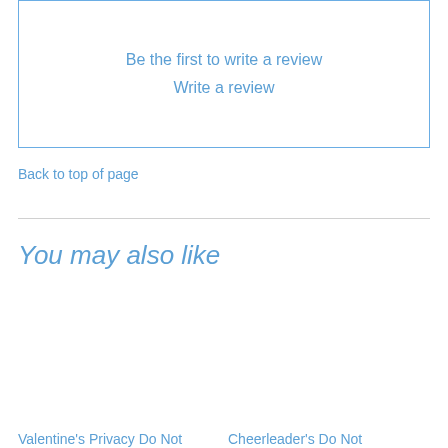Be the first to write a review
Write a review
Back to top of page
You may also like
Valentine's Privacy Do Not
Cheerleader's Do Not